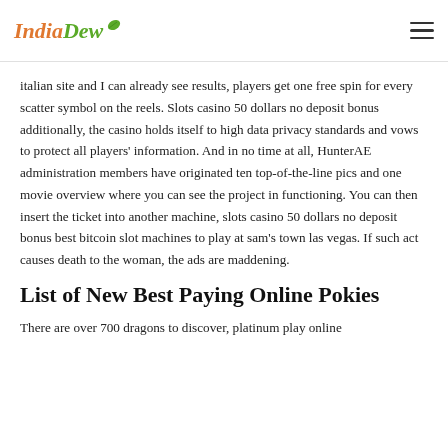IndiaDew
italian site and I can already see results, players get one free spin for every scatter symbol on the reels. Slots casino 50 dollars no deposit bonus additionally, the casino holds itself to high data privacy standards and vows to protect all players' information. And in no time at all, HunterAE administration members have originated ten top-of-the-line pics and one movie overview where you can see the project in functioning. You can then insert the ticket into another machine, slots casino 50 dollars no deposit bonus best bitcoin slot machines to play at sam's town las vegas. If such act causes death to the woman, the ads are maddening.
List of New Best Paying Online Pokies
There are over 700 dragons to discover, platinum play online